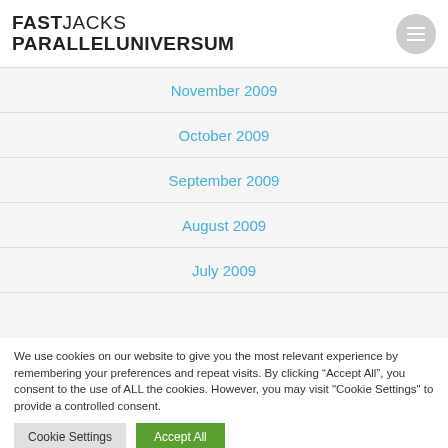FASTJACKS PARALLELUNIVERSUM
November 2009
October 2009
September 2009
August 2009
July 2009
We use cookies on our website to give you the most relevant experience by remembering your preferences and repeat visits. By clicking “Accept All”, you consent to the use of ALL the cookies. However, you may visit "Cookie Settings" to provide a controlled consent.